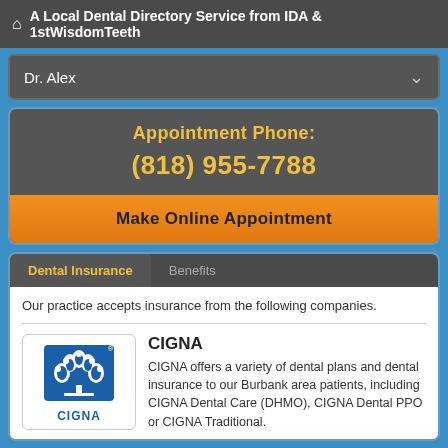A Local Dental Directory Service from IDA & 1stWisdomTeeth
Dr. Alex
Appointment Phone:
(818) 955-7788
Make Online Appointment
Dental Insurance
Benefits
Our practice accepts insurance from the following companies.
[Figure (logo): CIGNA logo with blue tree design and CIGNA text below]
CIGNA
CIGNA offers a variety of dental plans and dental insurance to our Burbank area patients, including CIGNA Dental Care (DHMO), CIGNA Dental PPO or CIGNA Traditional.